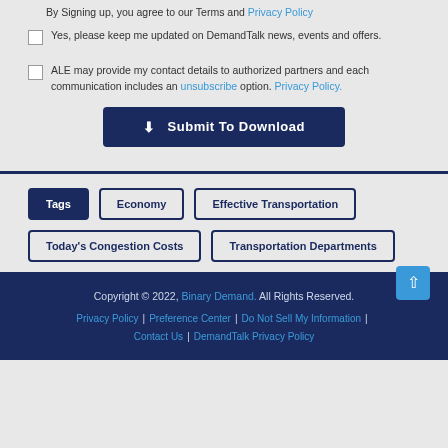By Signing up, you agree to our Terms and Privacy Policy
Yes, please keep me updated on DemandTalk news, events and offers.
ALE may provide my contact details to authorized partners and each communication includes an unsubscribe option. Privacy Policy.
Submit To Download
Tags
Economy
Effective Transportation
Today's Congestion Costs
Transportation Departments
Copyright © 2022, Binary Demand. All Rights Reserved. Privacy Policy | Preference Center | Do Not Sell My Information | Contact Us | DemandTalk Privacy Policy